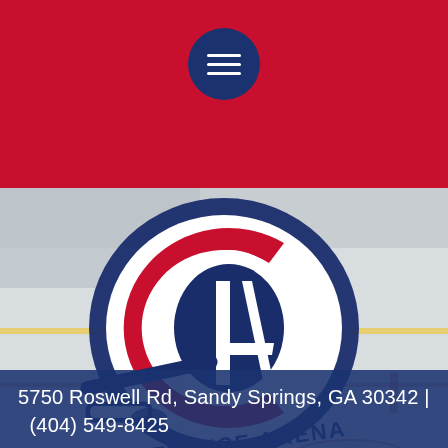[Figure (logo): Red navigation header bar with circular dark blue hamburger menu button centered at top]
[Figure (photo): Center Ice Arena logo overlaid on ice rink background photo. Logo features a hockey stick and puck design in red, white, and dark blue with text CENTER ICE ARENA]
5750 Roswell Rd, Sandy Springs, GA 30342 |  (404) 549-8425
[Figure (photo): Bottom portion of ice rink surface in grey tones]